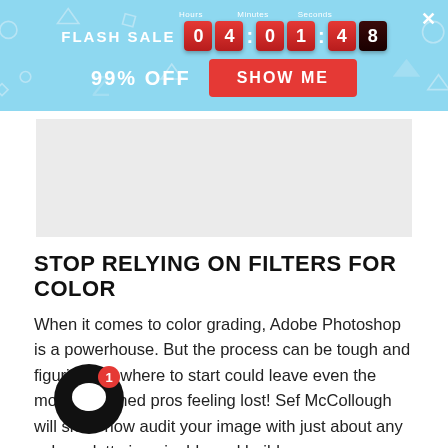[Figure (screenshot): Flash sale banner with countdown timer showing 04:01:48, 99% OFF text, and SHOW ME button on a light blue background with geometric shapes]
[Figure (other): Gray rectangular advertisement placeholder block]
STOP RELYING ON FILTERS FOR COLOR
When it comes to color grading, Adobe Photoshop is a powerhouse. But the process can be tough and figuring out where to start could leave even the most seasoned pros feeling lost! Sef McCollough will show how audit your image with just about any color palette imaginable and build
[Figure (other): Black circular chat widget with message icon and red notification badge showing 1]